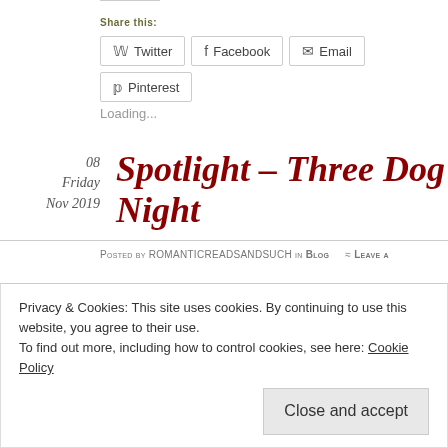Share this:
Twitter  Facebook  Email  Pinterest
Loading...
08
Friday
Nov 2019
Spotlight – Three Dog Night
Posted by ROMANTICREADSANDSUCH in Blog  ≈ Leave a
Privacy & Cookies: This site uses cookies. By continuing to use this website, you agree to their use.
To find out more, including how to control cookies, see here: Cookie Policy
Close and accept
Tags